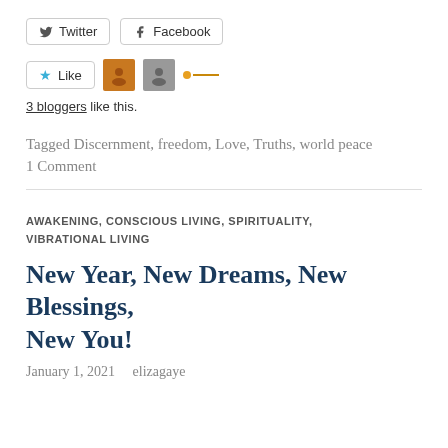[Figure (screenshot): Social sharing buttons: Twitter and Facebook buttons side by side]
[Figure (screenshot): Like button with star icon, two blogger avatar thumbnails, and an orange arrow/dot indicator]
3 bloggers like this.
Tagged Discernment, freedom, Love, Truths, world peace
1 Comment
AWAKENING, CONSCIOUS LIVING, SPIRITUALITY, VIBRATIONAL LIVING
New Year, New Dreams, New Blessings, New You!
January 1, 2021   elizagaye